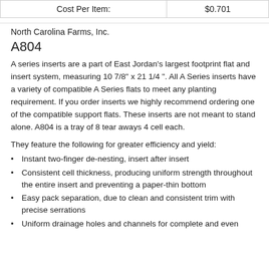| Cost Per Item: | $0.701 |
| --- | --- |
North Carolina Farms, Inc.
A804
A series inserts are a part of East Jordan's largest footprint flat and insert system, measuring 10 7/8" x 21 1/4 ". All A Series inserts have a variety of compatible A Series flats to meet any planting requirement. If you order inserts we highly recommend ordering one of the compatible support flats. These inserts are not meant to stand alone. A804 is a tray of 8 tear aways 4 cell each.
They feature the following for greater efficiency and yield:
Instant two-finger de-nesting, insert after insert
Consistent cell thickness, producing uniform strength throughout the entire insert and preventing a paper-thin bottom
Easy pack separation, due to clean and consistent trim with precise serrations
Uniform drainage holes and channels for complete and even